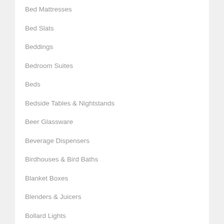Bed Mattresses
Bed Slats
Beddings
Bedroom Suites
Beds
Bedside Tables & Nightstands
Beer Glassware
Beverage Dispensers
Birdhouses & Bird Baths
Blanket Boxes
Blenders & Juicers
Bollard Lights
Bookends
Bookshelves & Bookcases
Bottles & Pitchers